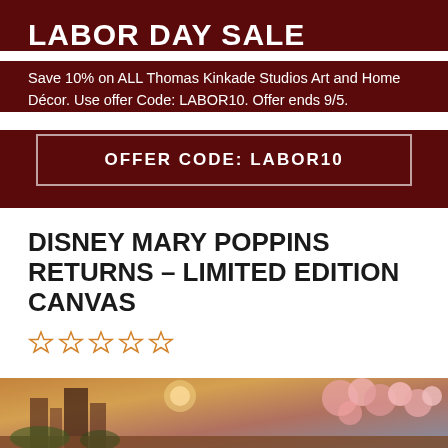LABOR DAY SALE
Save 10% on ALL Thomas Kinkade Studios Art and Home Décor. Use offer Code: LABOR10. Offer ends 9/5.
OFFER CODE: LABOR10
DISNEY MARY POPPINS RETURNS – LIMITED EDITION CANVAS
[Figure (other): Five empty star rating icons in orange/gold outline]
[Figure (illustration): Bottom portion of a Thomas Kinkade Disney Mary Poppins Returns painting showing a colorful fantasy cityscape with pink cherry blossoms]